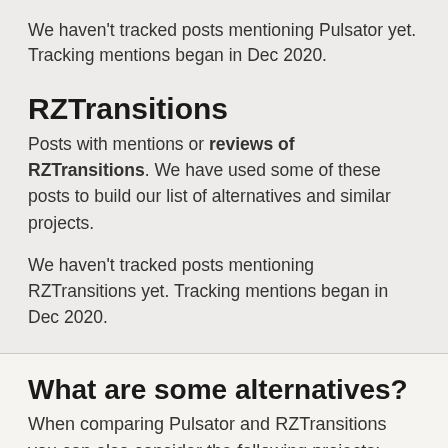We haven't tracked posts mentioning Pulsator yet. Tracking mentions began in Dec 2020.
RZTransitions
Posts with mentions or reviews of RZTransitions. We have used some of these posts to build our list of alternatives and similar projects.
We haven't tracked posts mentioning RZTransitions yet. Tracking mentions began in Dec 2020.
What are some alternatives?
When comparing Pulsator and RZTransitions you can also consider the following projects:
Anime - Bring life to CALayers with SpriteKit-like